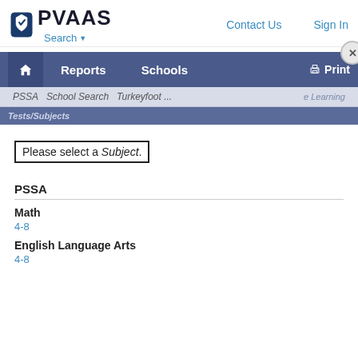PVAAS — Search | Contact Us | Sign In
[Figure (screenshot): PVAAS navigation bar with Reports, Schools, and Print options; breadcrumb showing PSSA > School Search > Turkeyfoot...]
Please select a Subject.
PSSA
Math
4-8
English Language Arts
4-8